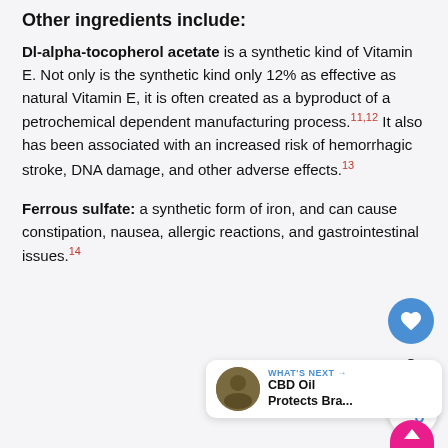Other ingredients include:
Dl-alpha-tocopherol acetate is a synthetic kind of Vitamin E. Not only is the synthetic kind only 12% as effective as natural Vitamin E, it is often created as a byproduct of a petrochemical dependent manufacturing process.11,12 It also has been associated with an increased risk of hemorrhagic stroke, DNA damage, and other adverse effects.13
Ferrous sulfate: a synthetic form of iron, and can cause constipation, nausea, allergic reactions, and gastrointestinal issues.14